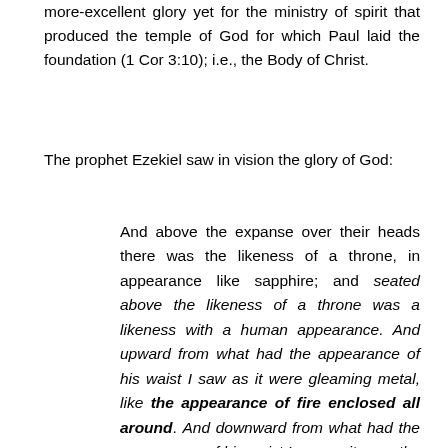more-excellent glory yet for the ministry of spirit that produced the temple of God for which Paul laid the foundation (1 Cor 3:10); i.e., the Body of Christ.
The prophet Ezekiel saw in vision the glory of God:
And above the expanse over their heads there was the likeness of a throne, in appearance like sapphire; and seated above the likeness of a throne was a likeness with a human appearance. And upward from what had the appearance of his waist I saw as it were gleaming metal, like the appearance of fire enclosed all around. And downward from what had the appearance of his waist I saw as it were the appearance of fire, and there was brightness around him. Like the appearance of the bow that is in the cloud